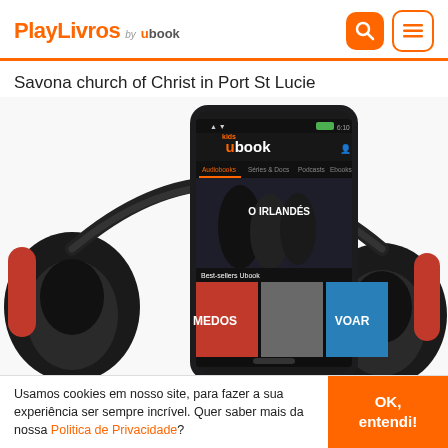PlayLivros by ubook
Savona church of Christ in Port St Lucie
[Figure (screenshot): Screenshot of the Ubook app displayed on a smartphone, showing categories: Audiobooks, Séries & Docs, Podcasts, Ebooks. Featured content includes 'O Irlandês', 'Best-sellers Ubook' section with 'Medos' and 'Voar'. Black headphones are visible behind the phone.]
Usamos cookies em nosso site, para fazer a sua experiência ser sempre incrível. Quer saber mais da nossa Politica de Privacidade?